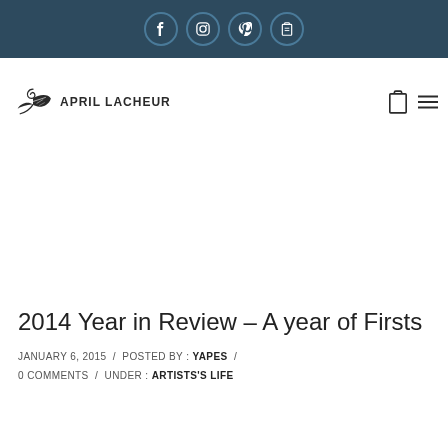Social icons bar (Facebook, Instagram, Pinterest, Clipboard)
[Figure (logo): April Lacheur brand logo with decorative leaf/swirl motif and text APRIL LACHEUR]
2014 Year in Review – A year of Firsts
JANUARY 6, 2015 / POSTED BY : YAPES / 0 COMMENTS / UNDER : ARTISTS'S LIFE